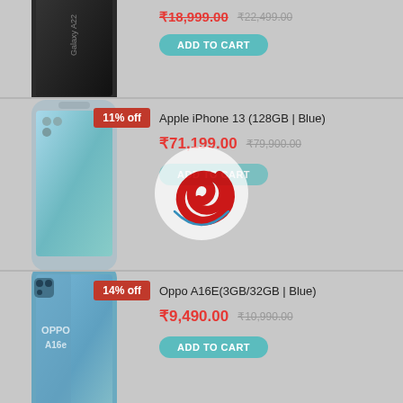[Figure (photo): Samsung Galaxy A22 5G smartphone product image (partial, top cut off). Dark colored phone.]
₹18,999.00  ₹22,499.00
ADD TO CART
[Figure (photo): Apple iPhone 13 128GB Blue smartphone product image with 11% off badge]
Apple iPhone 13 (128GB | Blue)
₹71,199.00  ₹79,900.00
ADD TO CART
[Figure (logo): Red swirl logo watermark overlaid on the page]
[Figure (photo): Oppo A16E 3GB/32GB Blue smartphone product image with 14% off badge]
Oppo A16E(3GB/32GB | Blue)
₹9,490.00  ₹10,990.00
ADD TO CART